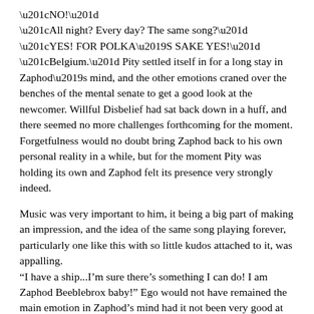“NO!”
“All night? Every day? The same song?”
“YES! FOR POLKA’S SAKE YES!”
“Belgium.” Pity settled itself in for a long stay in Zaphod’s mind, and the other emotions craned over the benches of the mental senate to get a good look at the newcomer. Willful Disbelief had sat back down in a huff, and there seemed no more challenges forthcoming for the moment. Forgetfulness would no doubt bring Zaphod back to his own personal reality in a while, but for the moment Pity was holding its own and Zaphod felt its presence very strongly indeed.

Music was very important to him, it being a big part of making an impression, and the idea of the same song playing forever, particularly one like this with so little kudos attached to it, was appalling.
“I have a ship...I’m sure there’s something I can do! I am Zaphod Beeblebrox baby!” Ego would not have remained the main emotion in Zaphod’s mind had it not been very good at taking control of a mental situation. It introduced  itself to Pity to produce a nice little alliance called a hero complex. “Relax everypony! Everything is cool as of this exact moment! Your president, owner of the most hip place in the universe as voted for by readers